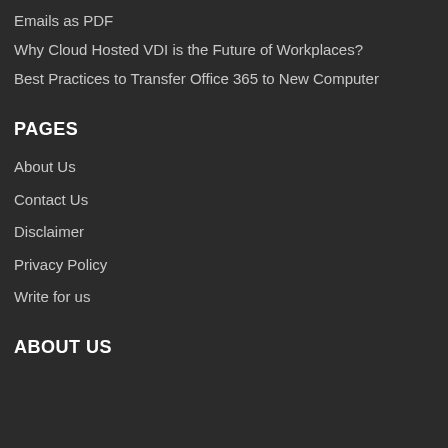Emails as PDF
Why Cloud Hosted VDI is the Future of Workplaces?
Best Practices to Transfer Office 365 to New Computer
PAGES
About Us
Contact Us
Disclaimer
Privacy Policy
Write for us
ABOUT US